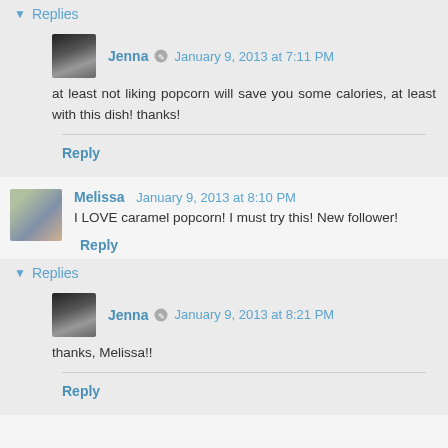▼ Replies
Jenna  January 9, 2013 at 7:11 PM
at least not liking popcorn will save you some calories, at least with this dish! thanks!
Reply
Melissa  January 9, 2013 at 8:10 PM
I LOVE caramel popcorn! I must try this! New follower!
Reply
▼ Replies
Jenna  January 9, 2013 at 8:21 PM
thanks, Melissa!!
Reply